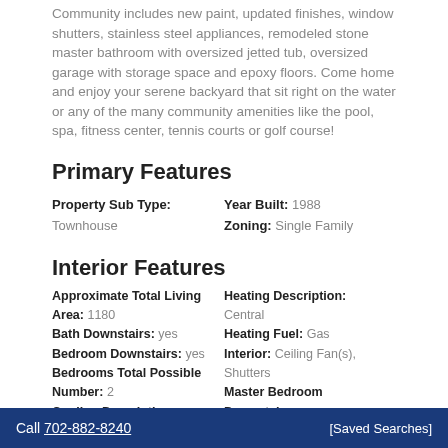Community includes new paint, updated finishes, window shutters, stainless steel appliances, remodeled stone master bathroom with oversized jetted tub, oversized garage with storage space and epoxy floors. Come home and enjoy your serene backyard that sit right on the water or any of the many community amenities like the pool, spa, fitness center, tennis courts or golf course!
Primary Features
Property Sub Type: Townhouse | Year Built: 1988 | Zoning: Single Family
Interior Features
Approximate Total Living Area: 1180 | Bath Downstairs: yes | Bedroom Downstairs: yes | Bedrooms Total Possible Number: 2 | Cooling Description: Central | Cooling Fuel: Electric | Disposal: yes | Dryer Included: yes | Dryer Utilities: Gas | Energy Description: None | Heating Description: Central | Heating Fuel: Gas | Interior: Ceiling Fan(s), Shutters | Master Bedroom Downstairs: yes | Other Appliance Description: Microwave | Oven Description: Stove(G) | Refrigerator: yes | Room Count: 4 | Spa: no
Call 702-882-8240   [Saved Searches]